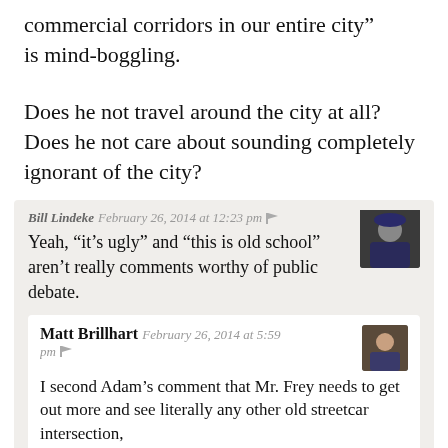commercial corridors in our entire city" is mind-boggling.
Does he not travel around the city at all? Does he not care about sounding completely ignorant of the city?
Bill Lindeke  February 26, 2014 at 12:23 pm
Yeah, “it’s ugly” and “this is old school” aren’t really comments worthy of public debate.
Matt Brillhart  February 26, 2014 at 5:59 pm
I second Adam’s comment that Mr. Frey needs to get out more and see literally any other old streetcar intersection,